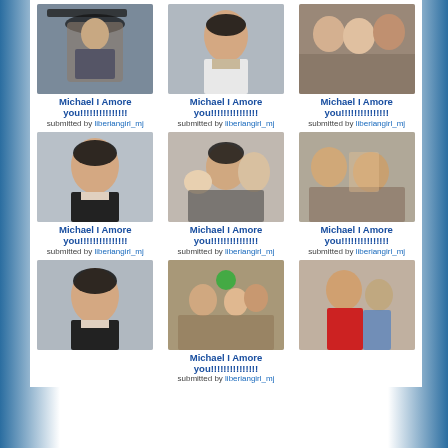[Figure (photo): Person under umbrella outdoors]
Michael I Amore you!!!!!!!!!!!!!!!
submitted by liberiangirl_mj
[Figure (photo): Close-up portrait of man in white shirt]
Michael I Amore you!!!!!!!!!!!!!!!
submitted by liberiangirl_mj
[Figure (photo): Two women and a man in formal setting]
Michael I Amore you!!!!!!!!!!!!!!!
submitted by liberiangirl_mj
[Figure (photo): Portrait of man with dark hair]
Michael I Amore you!!!!!!!!!!!!!!!
submitted by liberiangirl_mj
[Figure (photo): Man holding baby with woman]
Michael I Amore you!!!!!!!!!!!!!!!
submitted by liberiangirl_mj
[Figure (photo): People sitting in a room]
Michael I Amore you!!!!!!!!!!!!!!!
submitted by liberiangirl_mj
[Figure (photo): Portrait of man with dark hair close-up]
[Figure (photo): Children at birthday party with balloons]
Michael I Amore you!!!!!!!!!!!!!!!
submitted by liberiangirl_mj
[Figure (photo): Man in red shirt with child indoors]